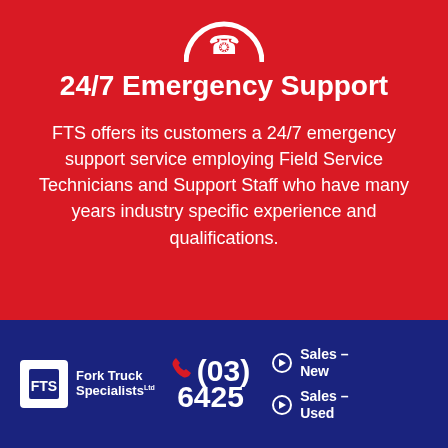[Figure (logo): Partial circular phone/support icon at top of red section]
24/7 Emergency Support
FTS offers its customers a 24/7 emergency support service employing Field Service Technicians and Support Staff who have many years industry specific experience and qualifications.
[Figure (logo): Fork Truck Specialists FTS logo with white FTS box and brand name]
(03) 6425
Sales – New
Sales – Used